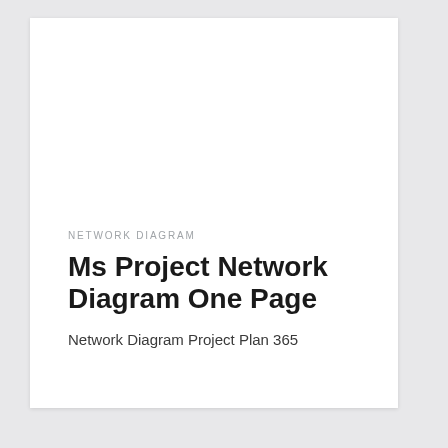NETWORK DIAGRAM
Ms Project Network Diagram One Page
Network Diagram Project Plan 365